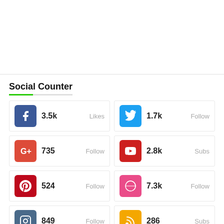Social Counter
[Figure (infographic): Social media counter widget showing 8 platform cards: Facebook 3.5k Likes, Twitter 1.7k Follow, Google+ 735 Follow, YouTube 2.8k Subs, Pinterest 524 Follow, Dribbble 7.3k Follow, Instagram 849 Follow, RSS 286 Subs]